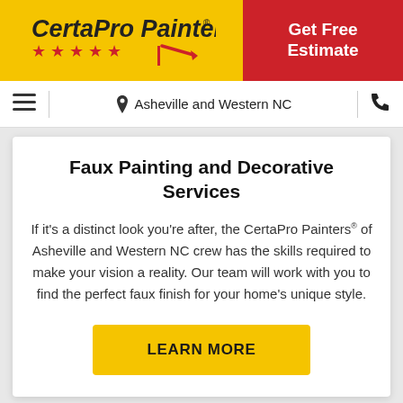[Figure (logo): CertaPro Painters logo with yellow background, red stars, and painter tool graphic]
Get Free Estimate
☰  📍 Asheville and Western NC  📞
Faux Painting and Decorative Services
If it's a distinct look you're after, the CertaPro Painters® of Asheville and Western NC crew has the skills required to make your vision a reality. Our team will work with you to find the perfect faux finish for your home's unique style.
LEARN MORE